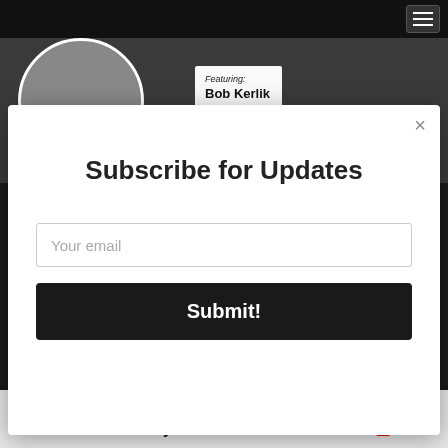[Figure (screenshot): Website header with dark navigation bar containing hamburger menu button on the right, background image area showing a circular portrait photo of a man (Bob Kerlik) overlapping the header, and a white card showing 'Featuring: Bob Kerlik']
Subscribe for Updates
Your email
Submit!
Recommended for you
AddThis